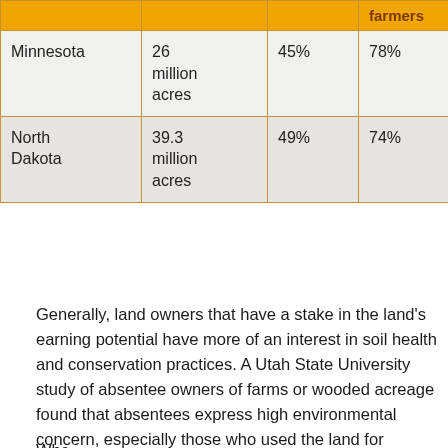|  |  |  | farmers | far |
| --- | --- | --- | --- | --- |
| Minnesota | 26 million acres | 45% | 78% | 8.1 mil acr |
| North Dakota | 39.3 million acres | 49% | 74% | 14. mil acr |
Generally, land owners that have a stake in the land's earning potential have more of an interest in soil health and conservation practices. A Utah State University study of absentee owners of farms or wooded acreage found that absentees express high environmental concern, especially those who used the land for recreation.
Whe...